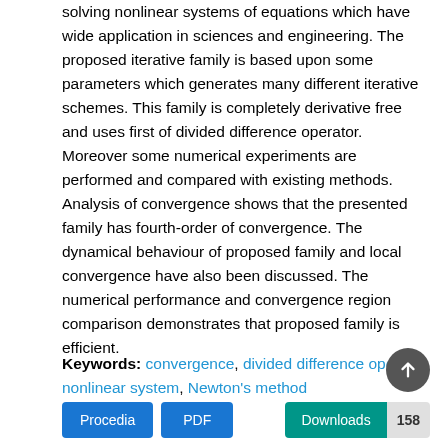solving nonlinear systems of equations which have wide application in sciences and engineering. The proposed iterative family is based upon some parameters which generates many different iterative schemes. This family is completely derivative free and uses first of divided difference operator. Moreover some numerical experiments are performed and compared with existing methods. Analysis of convergence shows that the presented family has fourth-order of convergence. The dynamical behaviour of proposed family and local convergence have also been discussed. The numerical performance and convergence region comparison demonstrates that proposed family is efficient.
Keywords: convergence, divided difference operator, nonlinear system, Newton's method